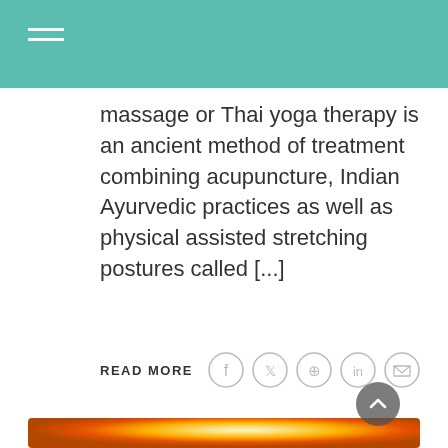Navigation menu header bar
massage or Thai yoga therapy is an ancient method of treatment combining acupuncture, Indian Ayurvedic practices as well as physical assisted stretching postures called [...]
READ MORE
[Figure (photo): Silhouette of a woman wearing a cap with a ponytail against a bright golden sunset sky]
[Figure (other): Scroll to top button with upward arrow]